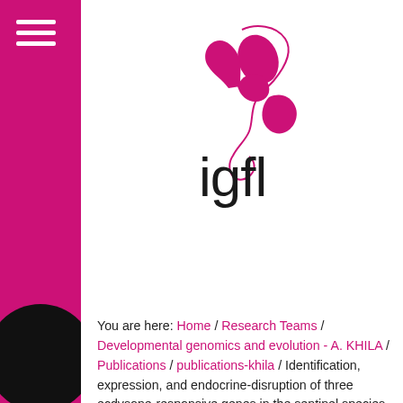[Figure (logo): igfl logo: lowercase 'igfl' text in dark/black with a pink/magenta abstract figure above it resembling a running or leaping person]
You are here: Home / Research Teams / Developmental genomics and evolution - A. KHILA / Publications / publications-khila / Identification, expression, and endocrine-disruption of three ecdysone-responsive genes in the sentinel species Gammarus fossarum.